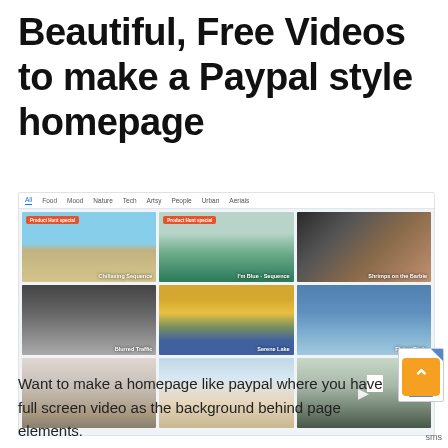Beautiful, Free Videos to make a Paypal style homepage
[Figure (screenshot): Screenshot of a video stock website showing a navigation bar with categories (All, Food, Mood, Nature, Tech, Artsy, People, Urban, Aerials) and a 3x3 grid of video thumbnails: Chillaxing Sequence, I'm Blue - Sequence, Shrimps on the Barbie, Blurred Traffic, Serene Lake, Flying Birds, and three more partially visible.]
Want to make a homepage like paypal where you have full screen video as the background behind page elements.